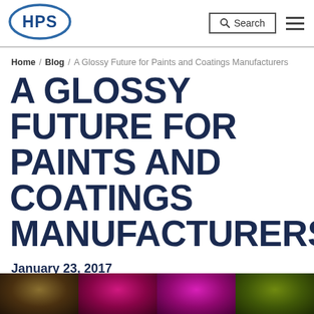[Figure (logo): HPS logo — oval shape with blue outline, letters HPS in bold blue inside]
Search [search icon] [hamburger menu]
Home / Blog / A Glossy Future for Paints and Coatings Manufacturers
A GLOSSY FUTURE FOR PAINTS AND COATINGS MANUFACTURERS
January 23, 2017
[Figure (photo): Paint cans viewed from above showing colorful paints — brown/dark, pink/magenta, purple/magenta, and green]